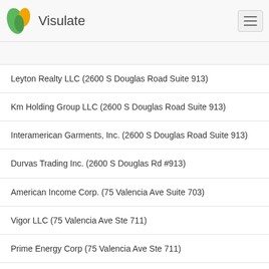Visulate
Leyton Realty LLC (2600 S Douglas Road Suite 913)
Km Holding Group LLC (2600 S Douglas Road Suite 913)
Interamerican Garments, Inc. (2600 S Douglas Road Suite 913)
Durvas Trading Inc. (2600 S Douglas Rd #913)
American Income Corp. (75 Valencia Ave Suite 703)
Vigor LLC (75 Valencia Ave Ste 711)
Prime Energy Corp (75 Valencia Ave Ste 711)
Vigor Us Inc (75 Valencia Ave Ste 711)
Nosich & Ganz, Attorneys At Law, P.L. (75 Valencia Ave)